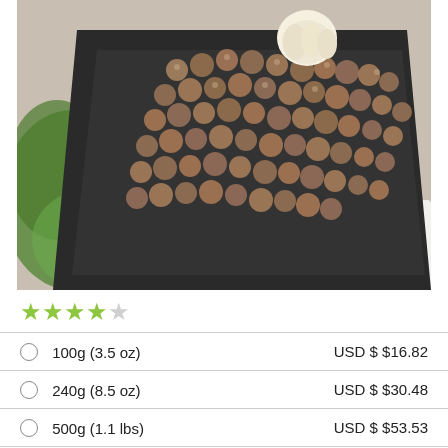[Figure (photo): Photo of small dried nuts/seeds arranged on a dark rectangular tray with a green leaf visible in the background]
★★★★☆
|  | Size | Price |
| --- | --- | --- |
| ○ | 100g (3.5 oz) | USD $ $16.82 |
| ○ | 240g (8.5 oz) | USD $ $30.48 |
| ○ | 500g (1.1 lbs) | USD $ $53.53 |
| ○ | 1kg (2.2 lbs) | USD $ $93.87 |